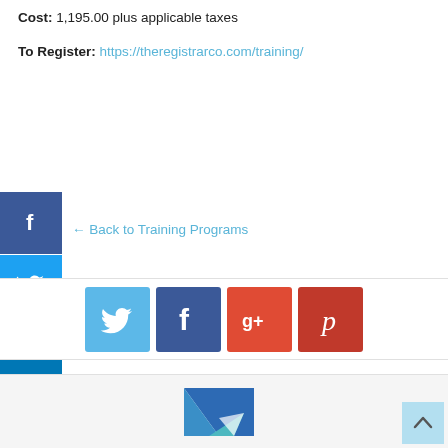Cost: 1,195.00 plus applicable taxes
To Register: https://theregistrarco.com/training/
← Back to Training Programs
[Figure (infographic): Side social share icons: Facebook (blue), Twitter (light blue), LinkedIn (blue), Print (orange)]
[Figure (infographic): Social share bar with Twitter, Facebook, Google+, Pinterest buttons]
[Figure (logo): Partial logo visible at bottom of page — blue and teal geometric checkmark/shield shape]